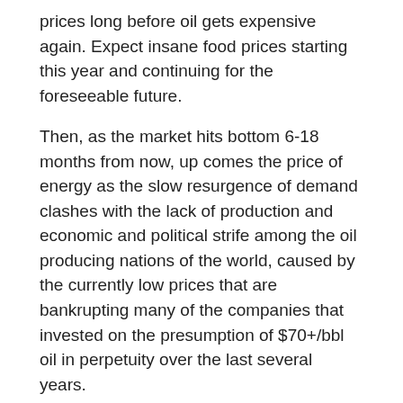prices long before oil gets expensive again. Expect insane food prices starting this year and continuing for the foreseeable future.
Then, as the market hits bottom 6-18 months from now, up comes the price of energy as the slow resurgence of demand clashes with the lack of production and economic and political strife among the oil producing nations of the world, caused by the currently low prices that are bankrupting many of the companies that invested on the presumption of $70+/bbl oil in perpetuity over the last several years.
This will be far worse for the southwest than anywhere else in the country, as the crippling 30% real estate losses already seen in much of CA, NV, and AZ effectively neuter those states' ability to provide services and bankruptcies destroy their ability to feed themselves (and the rest of the country). You might...